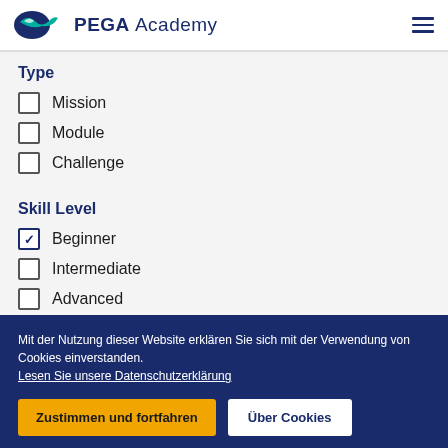[Figure (logo): PEGA Academy logo with bird/wave icon and text]
Type
Mission (unchecked)
Module (unchecked)
Challenge (unchecked)
Skill Level
Beginner (checked)
Intermediate (unchecked)
Advanced (unchecked)
Mit der Nutzung dieser Website erklären Sie sich mit der Verwendung von Cookies einverstanden. Lesen Sie unsere Datenschutzerklärung